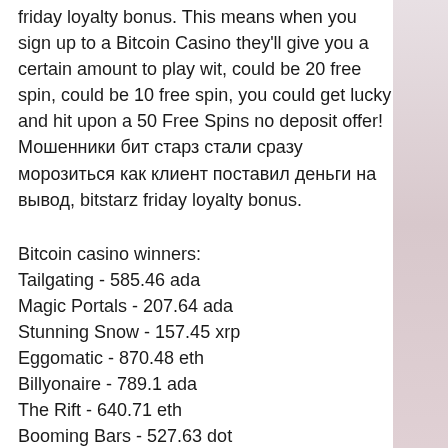friday loyalty bonus. This means when you sign up to a Bitcoin Casino they'll give you a certain amount to play wit, could be 20 free spin, could be 10 free spin, you could get lucky and hit upon a 50 Free Spins no deposit offer!Мошенники бит старз стали сразу морозиться как клиент поставил деньги на вывод, bitstarz friday loyalty bonus.
Bitcoin casino winners:
Tailgating - 585.46 ada
Magic Portals - 207.64 ada
Stunning Snow - 157.45 xrp
Eggomatic - 870.48 eth
Billyonaire - 789.1 ada
The Rift - 640.71 eth
Booming Bars - 527.63 dot
Drone Wars - 147.36 dot
Goldenman - 730.68 dot
Return And The John - Incomplete...